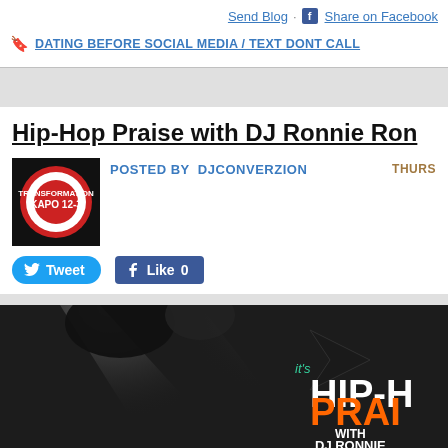Send Blog · Share on Facebook
DATING BEFORE SOCIAL MEDIA / TEXT DONT CALL
Hip-Hop Praise with DJ Ronnie Ron
POSTED BY  DJCONVERZION   THURS
[Figure (logo): Transformation KAPO 12-3 radio station logo, black background with red and white circular logo]
[Figure (screenshot): Tweet button and Like 0 Facebook button]
[Figure (photo): Hip-Hop Praise with DJ Ronnie Ron promotional graphic showing stage lights and text on dark background]